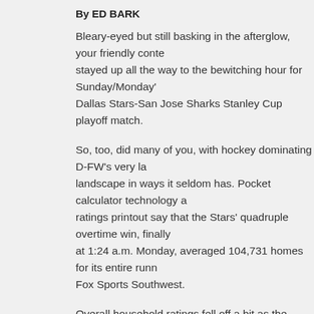By ED BARK
Bleary-eyed but still basking in the afterglow, your friendly conte stayed up all the way to the bewitching hour for Sunday/Monday' Dallas Stars-San Jose Sharks Stanley Cup playoff match.
So, too, did many of you, with hockey dominating D-FW's very la landscape in ways it seldom has. Pocket calculator technology a ratings printout say that the Stars' quadruple overtime win, finally at 1:24 a.m. Monday, averaged 104,731 homes for its entire runn Fox Sports Southwest.
Overall household ratings fell off a bit as the game kept going an going. But the share of television sets in use kept increasing as v downshifted to an otherwise vast wasteland of mostly informercia movies and moth-eaten series repeats.
From 1:15 to 1:30 a.m. -- Nielsen measures audiences in 15-min -- Stars-Sharks still had 90,227 homes in tow. But the audience s percent, the game's highest of the night. It had started with a 5 p